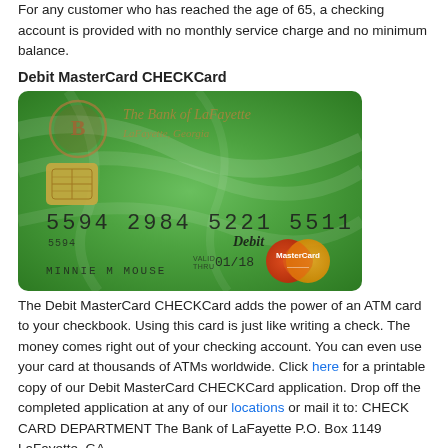For any customer who has reached the age of 65, a checking account is provided with no monthly service charge and no minimum balance.
Debit MasterCard CHECKCard
[Figure (photo): A green Debit MasterCard CHECKCard issued by The Bank of LaFayette, LaFayette Georgia. Card number shown: 5594 2984 5221 5511, cardholder name: MINNIE M MOUSE, valid thru 01/18. Features EMV chip, Debit and MasterCard logos.]
The Debit MasterCard CHECKCard adds the power of an ATM card to your checkbook. Using this card is just like writing a check. The money comes right out of your checking account. You can even use your card at thousands of ATMs worldwide. Click here for a printable copy of our Debit MasterCard CHECKCard application. Drop off the completed application at any of our locations or mail it to: CHECK CARD DEPARTMENT The Bank of LaFayette P.O. Box 1149 LaFayette, GA